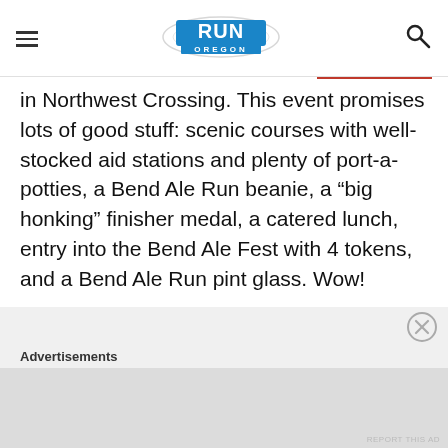Run Oregon (logo header with hamburger menu and search icon)
in Northwest Crossing. This event promises lots of good stuff: scenic courses with well-stocked aid stations and plenty of port-a-potties, a Bend Ale Run beanie, a “big honking” finisher medal, a catered lunch, entry into the Bend Ale Fest with 4 tokens, and a Bend Ale Run pint glass. Wow!
Advertisements